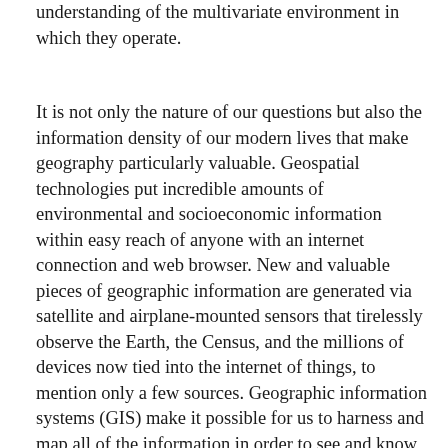understanding of the multivariate environment in which they operate.
It is not only the nature of our questions but also the information density of our modern lives that make geography particularly valuable. Geospatial technologies put incredible amounts of environmental and socioeconomic information within easy reach of anyone with an internet connection and web browser. New and valuable pieces of geographic information are generated via satellite and airplane-mounted sensors that tirelessly observe the Earth, the Census, and the millions of devices now tied into the internet of things, to mention only a few sources. Geographic information systems (GIS) make it possible for us to harness and map all of the information in order to see and know our home, our town, and our planet in ways that are truly incredible. The everyday experience of using an